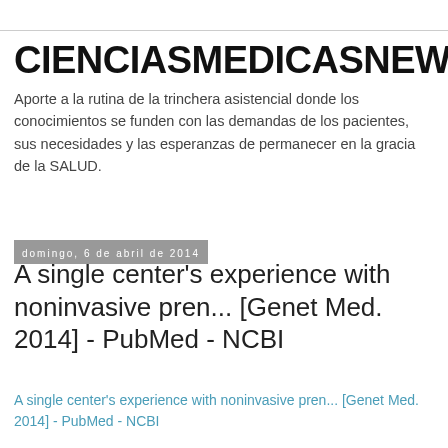CIENCIASMEDICASNEWS
Aporte a la rutina de la trinchera asistencial donde los conocimientos se funden con las demandas de los pacientes, sus necesidades y las esperanzas de permanecer en la gracia de la SALUD.
domingo, 6 de abril de 2014
A single center's experience with noninvasive pren... [Genet Med. 2014] - PubMed - NCBI
A single center's experience with noninvasive pren... [Genet Med. 2014] - PubMed - NCBI